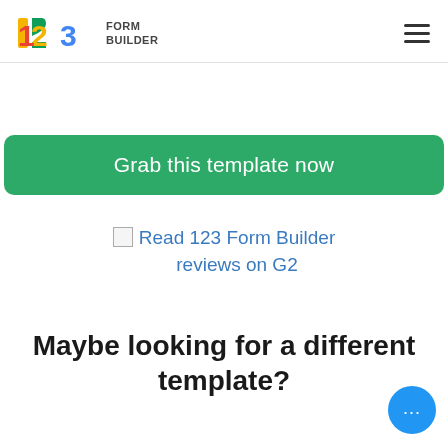123 FORM BUILDER
[Figure (other): Green button labeled 'Grab this template now']
Read 123 Form Builder reviews on G2
Maybe looking for a different template?